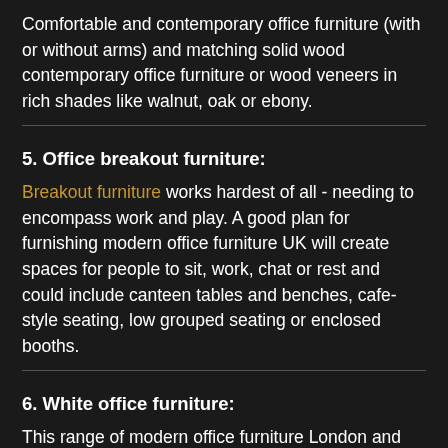Comfortable and contemporary office furniture (with or without arms) and matching solid wood contemporary office furniture or wood veneers in rich shades like walnut, oak or ebony.
5. Office breakout furniture:
Breakout furniture works hardest of all - needing to encompass work and play. A good plan for furnishing modern office furniture UK will create spaces for people to sit, work, chat or rest and could include canteen tables and benches, cafe-style seating, low grouped seating or enclosed booths.
6. White office furniture:
This range of modern office furniture London and